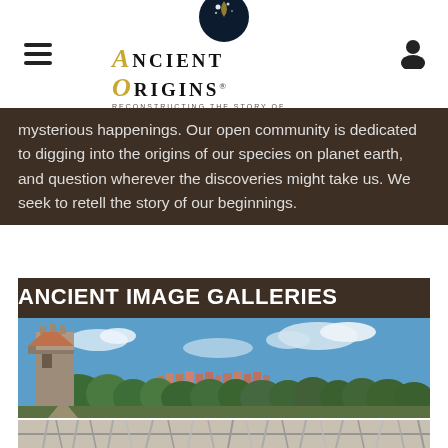Ancient Origins — Reconstructing the story of humanity's past
mysterious happenings. Our open community is dedicated to digging into the origins of our species on planet earth, and question wherever the discoveries might take us. We seek to retell the story of our beginnings.
ANCIENT IMAGE GALLERIES
[Figure (photo): Panoramic view of a medieval European town with a stone tower on the left, green trees in the foreground, rooftops in the background, and a blue sky with clouds above.]
[Figure (photo): Strip of thumbnails showing tangled white/grey tree roots or branches against a light background.]